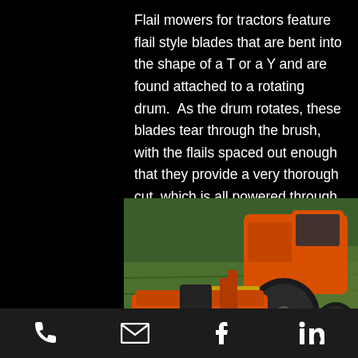Flail mowers for tractors feature flail style blades that are bent into the shape of a T or a Y and are found attached to a rotating drum. As the drum rotates, these blades tear through the brush, with the flails spaced out enough that they provide a very thorough cut, which is all powered through a PTO drive.
[Figure (photo): Orange flail mower attachment connected to an orange compact tractor, shown cutting tall grass in a field. The flail mower is in the foreground with the tractor behind it.]
Phone | Email | Facebook | LinkedIn